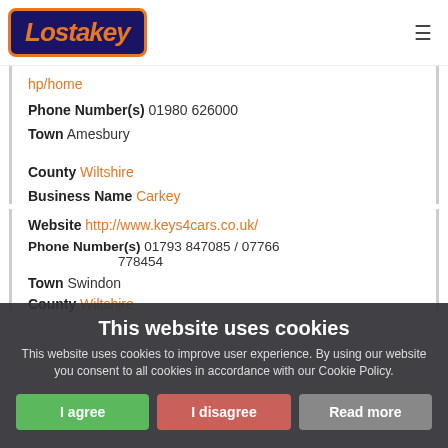[Figure (logo): Lostakey logo — orange italic text on dark navy background with orange border]
hp/home
Phone Number(s) 01980 626000
Town Amesbury
County Wiltshire
Business Name Carkey
Website http://www.keys4cars.co.uk/
Phone Number(s) 01793 847085 / 07766 778454
Town Swindon
County Wiltshire
This website uses cookies
This website uses cookies to improve user experience. By using our website you consent to all cookies in accordance with our Cookie Policy.
I agree
I disagree
Read more